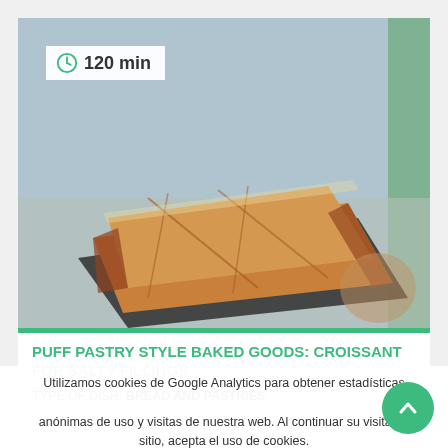[Figure (photo): A rectangular puff pastry baked good (croissant for salty fillings) on a baking tray on a kitchen counter, golden-brown color, viewed from a slight angle.]
PUFF PASTRY STYLE BAKED GOODS: CROISSANT FOR SALTY FILLINGS
TYPE OF DISH: BREAD AND PASTRIES
Utilizamos cookies de Google Analytics para obtener estadísticas anónimas de uso y visitas de nuestra web. Al continuar su visita en sitio, acepta el uso de cookies.
ACEPTAR   Más información